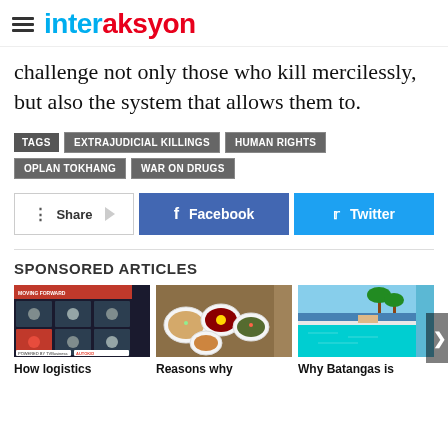interaksyon
challenge not only those who kill mercilessly, but also the system that allows them to.
TAGS  EXTRAJUDICIAL KILLINGS  HUMAN RIGHTS  OPLAN TOKHANG  WAR ON DRUGS
Share  Facebook  Twitter
SPONSORED ARTICLES
[Figure (photo): Moving Forward webinar screenshot with multiple participants]
[Figure (photo): Korean food bowls and dishes on a table]
[Figure (photo): Resort pool with palm trees and ocean view]
How logistics
Reasons why
Why Batangas is